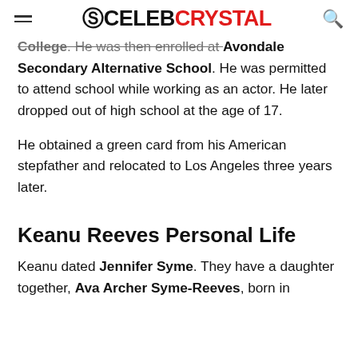CELEBCRYSTAL
College. He was then enrolled at Avondale Secondary Alternative School. He was permitted to attend school while working as an actor. He later dropped out of high school at the age of 17.
He obtained a green card from his American stepfather and relocated to Los Angeles three years later.
Keanu Reeves Personal Life
Keanu dated Jennifer Syme. They have a daughter together, Ava Archer Syme-Reeves, born in